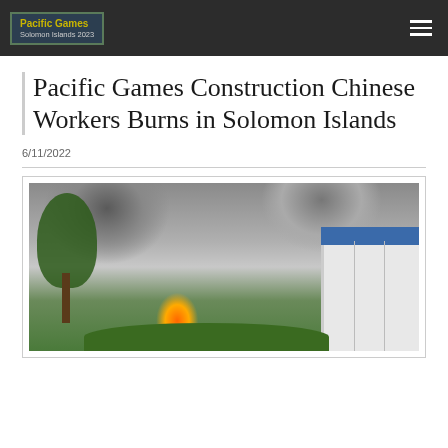Pacific Games Solomon Islands 2023
Pacific Games Construction Chinese Workers Burns in Solomon Islands
6/11/2022
[Figure (photo): Photo of a building on fire with heavy black and grey smoke, a large tree in the foreground, green shrubs, and a white building with blue roof on the right side.]